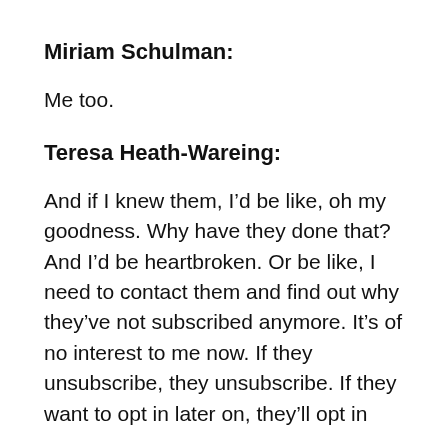Miriam Schulman:
Me too.
Teresa Heath-Wareing:
And if I knew them, I’d be like, oh my goodness. Why have they done that? And I’d be heartbroken. Or be like, I need to contact them and find out why they’ve not subscribed anymore. It’s of no interest to me now. If they unsubscribe, they unsubscribe. If they want to opt in later on, they’ll opt in